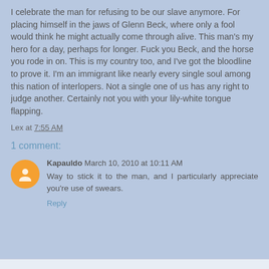I celebrate the man for refusing to be our slave anymore. For placing himself in the jaws of Glenn Beck, where only a fool would think he might actually come through alive. This man's my hero for a day, perhaps for longer. Fuck you Beck, and the horse you rode in on. This is my country too, and I've got the bloodline to prove it. I'm an immigrant like nearly every single soul among this nation of interlopers. Not a single one of us has any right to judge another. Certainly not you with your lily-white tongue flapping.
Lex at 7:55 AM
1 comment:
Kapauldo March 10, 2010 at 10:11 AM
Way to stick it to the man, and I particularly appreciate you're use of swears.
Reply